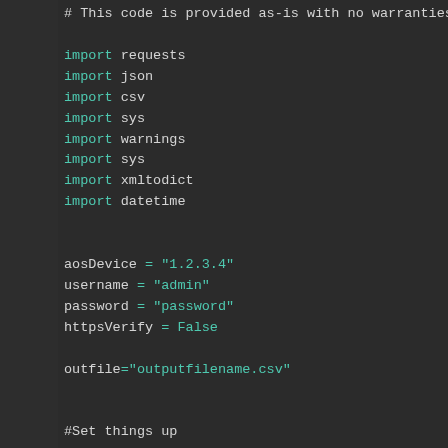# This code is provided as-is with no warranties
import requests
import json
import csv
import sys
import warnings
import sys
import xmltodict
import datetime


aosDevice = "1.2.3.4"
username = "admin"
password = "password"
httpsVerify = False

outfile="outputfilename.csv"


#Set things up

if httpsVerify == False :
    warnings.filterwarnings('ignore', message='U